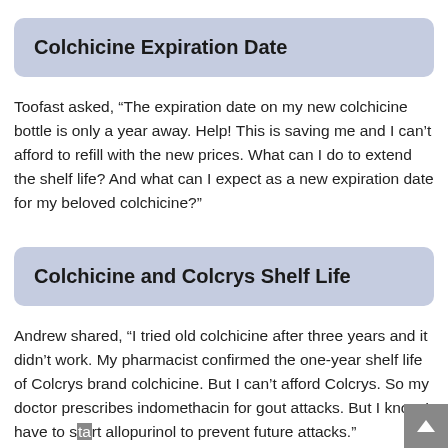Colchicine Expiration Date
Toofast asked, “The expiration date on my new colchicine bottle is only a year away. Help! This is saving me and I can’t afford to refill with the new prices. What can I do to extend the shelf life? And what can I expect as a new expiration date for my beloved colchicine?”
Colchicine and Colcrys Shelf Life
Andrew shared, “I tried old colchicine after three years and it didn’t work. My pharmacist confirmed the one-year shelf life of Colcrys brand colchicine. But I can’t afford Colcrys. So my doctor prescribes indomethacin for gout attacks. But I know I have to start allopurinol to prevent future attacks.”